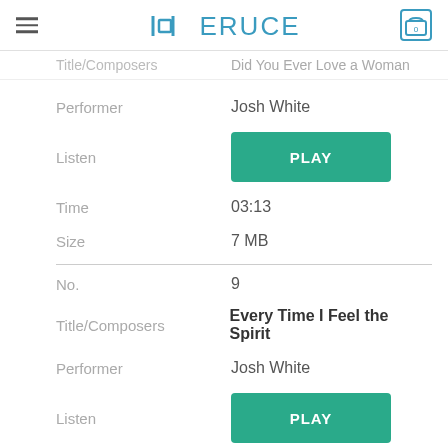≡ MERUCE 0
Title/Composers   Did You Ever Love a Woman
Performer   Josh White
Listen   PLAY
Time   03:13
Size   7 MB
No.   9
Title/Composers   Every Time I Feel the Spirit
Performer   Josh White
Listen   PLAY
Time   04:15
Size   9 MB